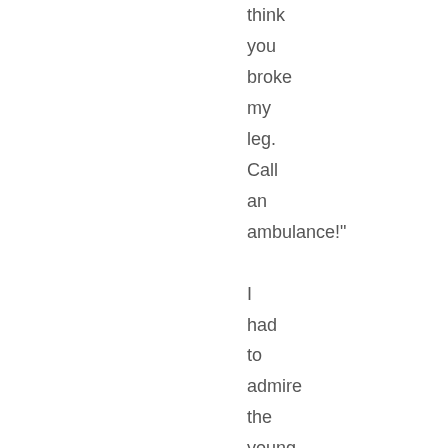think
you
broke
my
leg.
Call
an
ambulance!"

I
had
to
admire
the
young
man's
acting
chops.
Like
any
skilled
actor,
he
was